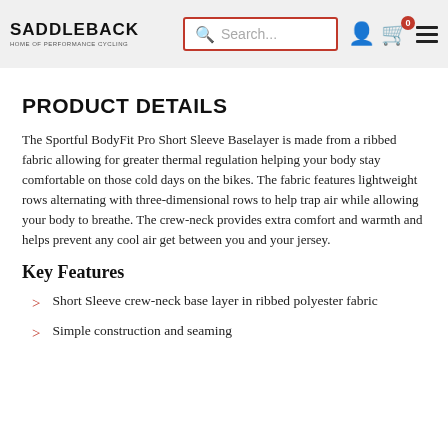SADDLEBACK — Home of Performance Cycling | Search... | User icon | Cart (0) | Menu
PRODUCT DETAILS
The Sportful BodyFit Pro Short Sleeve Baselayer is made from a ribbed fabric allowing for greater thermal regulation helping your body stay comfortable on those cold days on the bikes. The fabric features lightweight rows alternating with three-dimensional rows to help trap air while allowing your body to breathe. The crew-neck provides extra comfort and warmth and helps prevent any cool air get between you and your jersey.
Key Features
Short Sleeve crew-neck base layer in ribbed polyester fabric
Simple construction and seaming